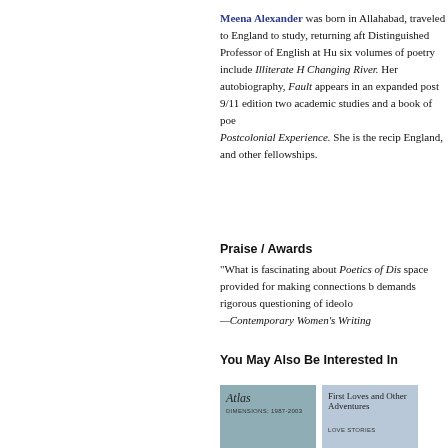Meena Alexander was born in Allahabad, traveled to England to study, returning aft Distinguished Professor of English at Hu six volumes of poetry include Illiterate H Changing River. Her autobiography, Faulti appears in an expanded post 9/11 edition two academic studies and a book of poe Postcolonial Experience. She is the recip England, and other fellowships.
Praise / Awards
"What is fascinating about Poetics of Dis space provided for making connections b demands rigorous questioning of ideolo —Contemporary Women's Writing
You May Also Be Interested In
[Figure (illustration): Book cover of Atlas]
[Figure (illustration): Book cover of First Loves and Other Adventures]